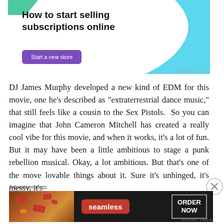[Figure (other): Advertisement banner: 'How to start selling subscriptions online' with a purple 'Start a new store' button, cyan decorative shape on right, green accent top-left.]
DJ James Murphy developed a new kind of EDM for this movie, one he's described as “extraterrestrial dance music,” that still feels like a cousin to the Sex Pistols.  So you can imagine that John Cameron Mitchell has created a really cool vibe for this movie, and when it works, it’s a lot of fun. But it may have been a little ambitious to stage a punk rebellion musical. Okay, a lot ambitious. But that’s one of the move lovable things about it. Sure it’s unhinged, it’s messy, it’s
Advertisements
[Figure (other): Seamless food delivery advertisement with pizza photo on left, red Seamless logo in center, and 'ORDER NOW' button on right, dark background.]